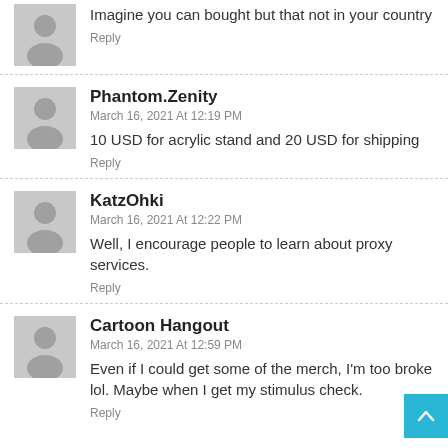Imagine you can bought but that not in your country
Reply
Phantom.Zenity
March 16, 2021 At 12:19 PM
10 USD for acrylic stand and 20 USD for shipping
Reply
KatzOhki
March 16, 2021 At 12:22 PM
Well, I encourage people to learn about proxy services.
Reply
Cartoon Hangout
March 16, 2021 At 12:59 PM
Even if I could get some of the merch, I'm too broke lol. Maybe when I get my stimulus check.
Reply